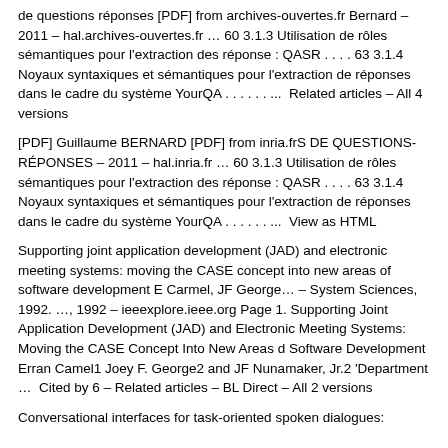de questions réponses [PDF] from archives-ouvertes.fr Bernard – 2011 – hal.archives-ouvertes.fr … 60 3.1.3 Utilisation de rôles sémantiques pour l'extraction des réponse : QASR . . . . 63 3.1.4 Noyaux syntaxiques et sémantiques pour l'extraction de réponses dans le cadre du système YourQA . . . . . . ...  Related articles – All 4 versions
[PDF] Guillaume BERNARD [PDF] from inria.frS DE QUESTIONS-RÉPONSES – 2011 – hal.inria.fr … 60 3.1.3 Utilisation de rôles sémantiques pour l'extraction des réponse : QASR . . . . 63 3.1.4 Noyaux syntaxiques et sémantiques pour l'extraction de réponses dans le cadre du système YourQA . . . . . . ...  View as HTML
Supporting joint application development (JAD) and electronic meeting systems: moving the CASE concept into new areas of software development E Carmel, JF George… – System Sciences, 1992. …, 1992 – ieeexplore.ieee.org Page 1. Supporting Joint Application Development (JAD) and Electronic Meeting Systems: Moving the CASE Concept Into New Areas d Software Development Erran Camel1 Joey F. George2 and JF Nunamaker, Jr.2 'Department …  Cited by 6 – Related articles – BL Direct – All 2 versions
Conversational interfaces for task-oriented spoken dialogues: